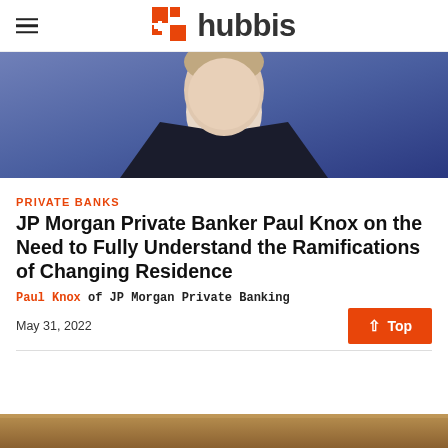hubbis
[Figure (photo): Professional headshot of Paul Knox, a young man in a dark suit with a red tie, against a blue background]
PRIVATE BANKS
JP Morgan Private Banker Paul Knox on the Need to Fully Understand the Ramifications of Changing Residence
Paul Knox of JP Morgan Private Banking
May 31, 2022
[Figure (photo): Bottom strip showing partial image, appears to be another photo]